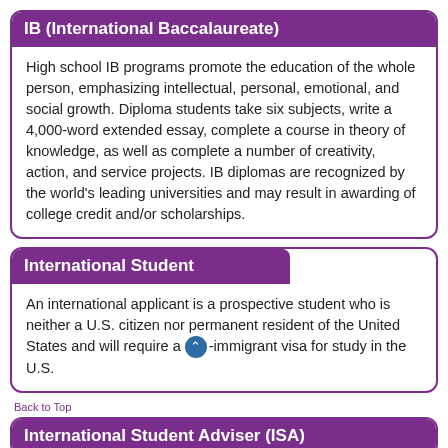IB (International Baccalaureate)
High school IB programs promote the education of the whole person, emphasizing intellectual, personal, emotional, and social growth. Diploma students take six subjects, write a 4,000-word extended essay, complete a course in theory of knowledge, as well as complete a number of creativity, action, and service projects. IB diplomas are recognized by the world's leading universities and may result in awarding of college credit and/or scholarships.
International Student
An international applicant is a prospective student who is neither a U.S. citizen nor permanent resident of the United States and will require a non-immigrant visa for study in the U.S.
Back to Top
International Student Adviser (ISA)